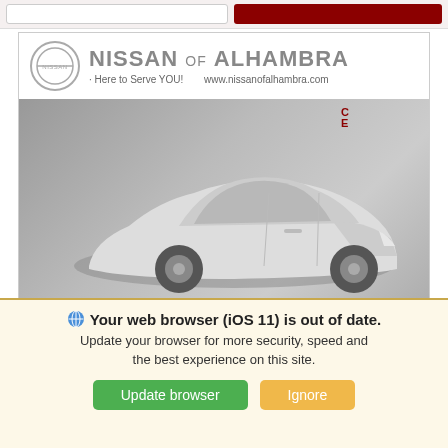[Figure (screenshot): Top navigation bar with search field and dark red button]
[Figure (photo): Nissan of Alhambra dealership advertisement banner showing a white Nissan Altima sedan in front of a dealership. Header includes Nissan logo, text NISSAN of ALHAMBRA, Here to Serve YOU!, www.nissanofalhambra.com]
We use cookies to optimize our website and our service.
Cookie Policy   Privacy Statement
Your web browser (iOS 11) is out of date.
Update your browser for more security, speed and the best experience on this site.
Update browser
Ignore